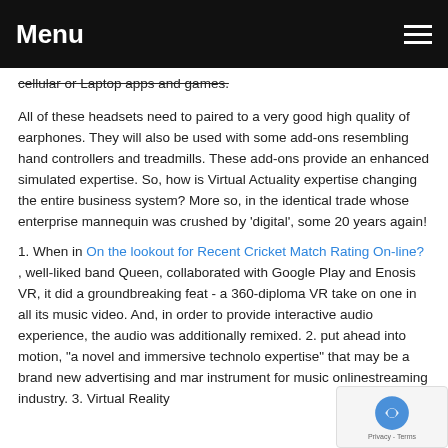Menu
cellular or Laptop apps and games.
All of these headsets need to paired to a very good high quality of earphones. They will also be used with some add-ons resembling hand controllers and treadmills. These add-ons provide an enhanced simulated expertise. So, how is Virtual Actuality expertise changing the entire business system? More so, in the identical trade whose enterprise mannequin was crushed by 'digital', some 20 years again!
1. When in On the lookout for Recent Cricket Match Rating On-line? , well-liked band Queen, collaborated with Google Play and Enosis VR, it did a groundbreaking feat - a 360-diploma VR take on one in all its music video. And, in order to provide interactive audio experience, the audio was additionally remixed. 2. put ahead into motion, "a novel and immersive technology expertise" that may be a brand new advertising and marketing instrument for music onlinestreaming industry. 3. Virtual Reality